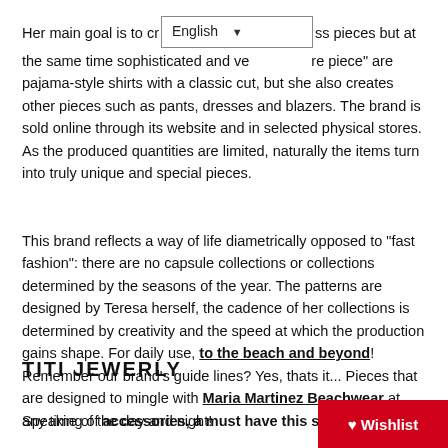Her main goal is to cr[English dropdown]ss pieces but at the same time sophisticated and ve[...]re piece" are pajama-style shirts with a classic cut, but she also creates other pieces such as pants, dresses and blazers. The brand is sold online through its website and in selected physical stores. As the produced quantities are limited, naturally the items turn into truly unique and special pieces.
This brand reflects a way of life diametrically opposed to "fast fashion": there are no capsule collections or collections determined by the seasons of the year. The patterns are designed by Teresa herself, the cadence of her collections is determined by creativity and the speed at which the production gains shape. For daily use, to the beach and beyond! Remember our brand’s guide lines? Yes, thats it... Pieces that are designed to mingle with Maria Martinez Beachwear at any time of the day and night!
TITI JEWERLY
Speaking of accessories, a must have this season 😊